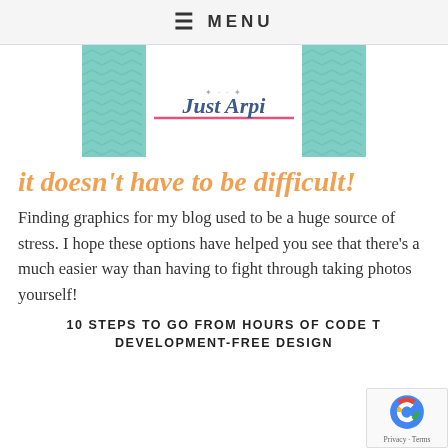≡ MENU
[Figure (logo): Just Arpi blog logo — white center panel with cursive 'Just Arpi' text and pink underline, flanked by teal chevron-patterned panels]
it doesn't have to be difficult!
Finding graphics for my blog used to be a huge source of stress. I hope these options have helped you see that there's a much easier way than having to fight through taking photos yourself!
10 STEPS TO GO FROM HOURS OF CODE TO DEVELOPMENT-FREE DESIGN